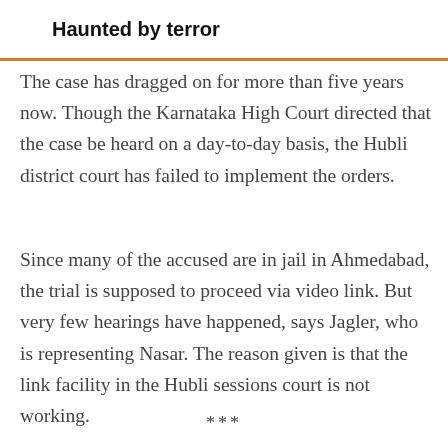Haunted by terror
The case has dragged on for more than five years now. Though the Karnataka High Court directed that the case be heard on a day-to-day basis, the Hubli district court has failed to implement the orders.
Since many of the accused are in jail in Ahmedabad, the trial is supposed to proceed via video link. But very few hearings have happened, says Jagler, who is representing Nasar. The reason given is that the link facility in the Hubli sessions court is not working.
***